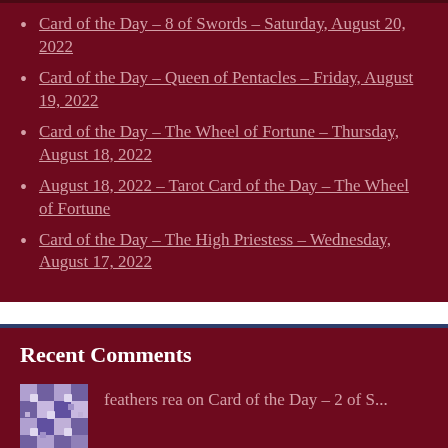Card of the Day – 8 of Swords – Saturday, August 20, 2022
Card of the Day – Queen of Pentacles – Friday, August 19, 2022
Card of the Day – The Wheel of Fortune – Thursday, August 18, 2022
August 18, 2022 – Tarot Card of the Day – The Wheel of Fortune
Card of the Day – The High Priestess – Wednesday, August 17, 2022
Recent Comments
feathers rea on Card of the Day – 2 of S...
Feathers Rea on Card of the Day...